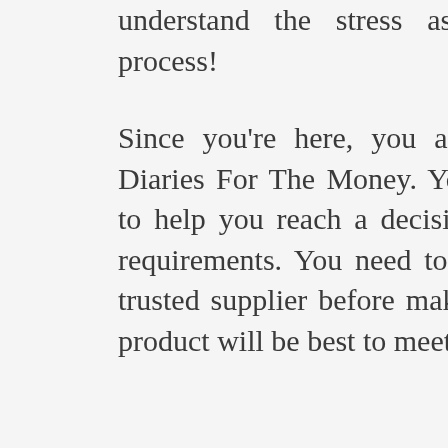understand the stress associated with the buying process!
Since you're here, you are obviously curious about Diaries For The Money. You have numerous resources to help you reach a decision that will best meet your requirements. You need to ascertain a dependable and trusted supplier before making your decision on which product will be best to meet your needs.
Depending upon your needs, there are many resources from which you may avail of that information. Buying guides or other Websites, word-of-mouth testimonials from family or close friends, sites of user discussion, online evaluations specifically located all over the Internet, and YouTube channels